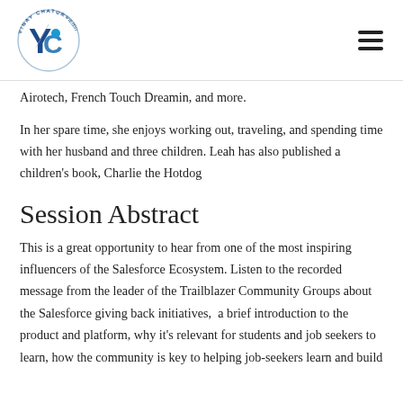Vinay Chaturvedi logo and navigation
Airotech, French Touch Dreamin, and more.
In her spare time, she enjoys working out, traveling, and spending time with her husband and three children. Leah has also published a children’s book, Charlie the Hotdog
Session Abstract
This is a great opportunity to hear from one of the most inspiring influencers of the Salesforce Ecosystem. Listen to the recorded message from the leader of the Trailblazer Community Groups about the Salesforce giving back initiatives,  a brief introduction to the product and platform, why it’s relevant for students and job seekers to learn, how the community is key to helping job-seekers learn and build